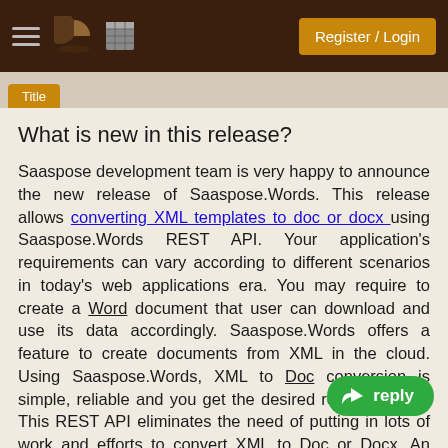Register / Login
What is new in this release?
Saaspose development team is very happy to announce the new release of Saaspose.Words. This release allows converting XML templates to doc or docx using Saaspose.Words REST API. Your application's requirements can vary according to different scenarios in today's web applications era. You may require to create a Word document that user can download and use its data accordingly. Saaspose.Words offers a feature to create documents from XML in the cloud. Using Saaspose.Words, XML to Doc conversion is simple, reliable and you get the desired results quickly. This REST API eliminates the need of putting in lots of work and efforts to convert XML to Doc or Docx. An XML template can contain any kind of data including plain text, rich text or controls like calendar and combo boxes. Saaspose.Words assures that the formatting